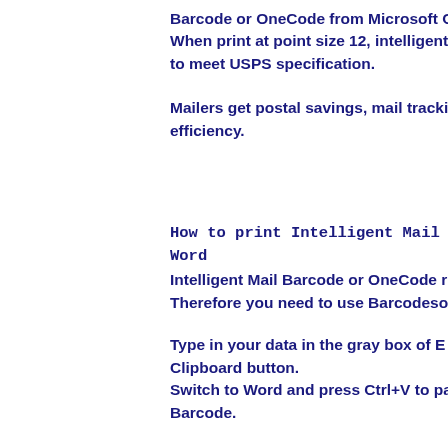Barcode or OneCode from Microsoft O... When print at point size 12, intelligent... to meet USPS specification.
Mailers get postal savings, mail tracki... efficiency.
How to print Intelligent Mail ... Word
Intelligent Mail Barcode or OneCode r... Therefore you need to use Barcodesot...
Type in your data in the gray box of En... Clipboard button.
Switch to Word and press Ctrl+V to pa... Barcode.
How to print Intelligent Mail ...